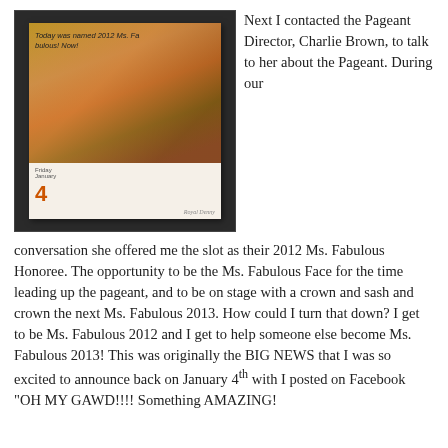[Figure (photo): A hand holding a polaroid-style calendar showing a photo of a golden retriever puppy sleeping. The calendar shows the number 4 in orange and has handwritten text at the top reading 'Today was named 2012 Ms. Fabulous! Now!']
Next I contacted the Pageant Director, Charlie Brown, to talk to her about the Pageant. During our conversation she offered me the slot as their 2012 Ms. Fabulous Honoree. The opportunity to be the Ms. Fabulous Face for the time leading up the pageant, and to be on stage with a crown and sash and crown the next Ms. Fabulous 2013. How could I turn that down? I get to be Ms. Fabulous 2012 and I get to help someone else become Ms. Fabulous 2013! This was originally the BIG NEWS that I was so excited to announce back on January 4th with I posted on Facebook "OH MY GAWD!!!! Something AMAZING!